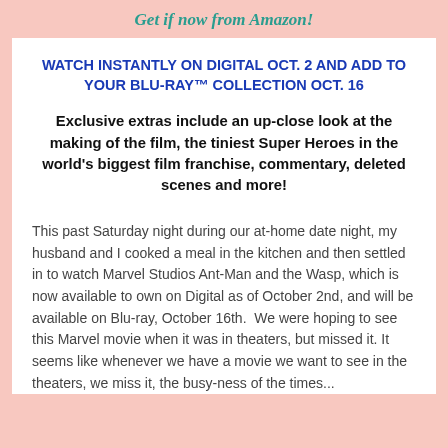Get if now from Amazon!
WATCH INSTANTLY ON DIGITAL OCT. 2 AND ADD TO YOUR BLU-RAY™ COLLECTION OCT. 16
Exclusive extras include an up-close look at the making of the film, the tiniest Super Heroes in the world's biggest film franchise, commentary, deleted scenes and more!
This past Saturday night during our at-home date night, my husband and I cooked a meal in the kitchen and then settled in to watch Marvel Studios Ant-Man and the Wasp, which is now available to own on Digital as of October 2nd, and will be available on Blu-ray, October 16th.  We were hoping to see this Marvel movie when it was in theaters, but missed it. It seems like whenever we have a movie we want to see in the theaters, we miss it, the busy-ness of the times...